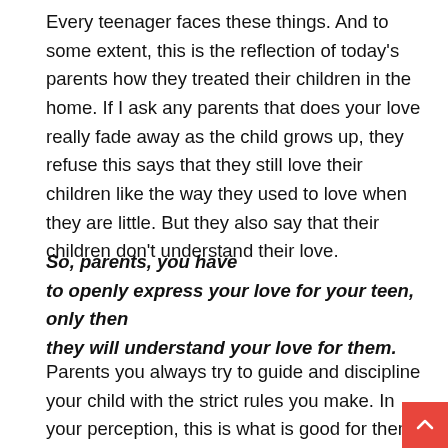Every teenager faces these things. And to some extent, this is the reflection of today's parents how they treated their children in the home. If I ask any parents that does your love really fade away as the child grows up, they refuse this says that they still love their children like the way they used to love when they are little. But they also say that their children don't understand their love.
So, parents, you have to openly express your love for your teen, only then they will understand your love for them.
Parents you always try to guide and discipline your child with the strict rules you make. In your perception, this is what is good for them. Maybe this is good for them, but you can also do the same things with your love and affection. You will never discipline your child by being harsh. If you are strict and harsh to them, they become complicated and difficult to